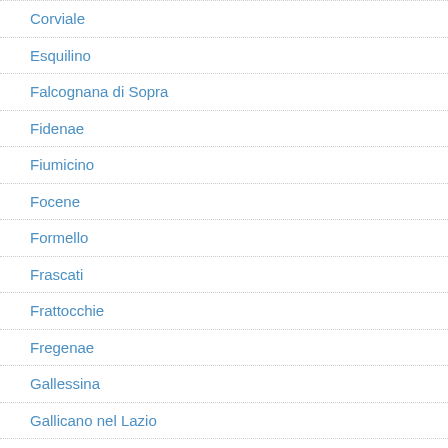Corviale
Esquilino
Falcognana di Sopra
Fidenae
Fiumicino
Focene
Formello
Frascati
Frattocchie
Fregenae
Gallessina
Gallicano nel Lazio